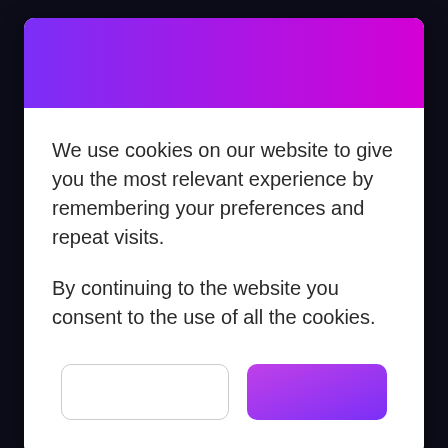[Figure (other): Purple to magenta gradient header bar of a cookie consent modal dialog]
We use cookies on our website to give you the most relevant experience by remembering your preferences and repeat visits.
By continuing to the website you consent to the use of all the cookies.
[Figure (other): Two buttons: a white outlined button (left) and a purple gradient filled button (right)]